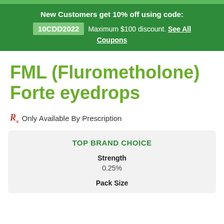New Customers get 10% off using code: 10CDD2022  Maximum $100 discount. See All Coupons
FML (Flurometholone) Forte eyedrops
Rx Only Available By Prescription
TOP BRAND CHOICE
Strength
0.25%
Pack Size